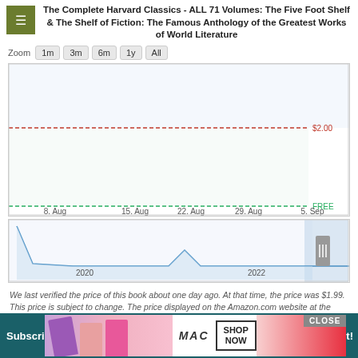The Complete Harvard Classics - ALL 71 Volumes: The Five Foot Shelf & The Shelf of Fiction: The Famous Anthology of the Greatest Works of World Literature
[Figure (line-chart): Line chart showing price history from 8. Aug to 5. Sep with a red dashed line at $2.00 and a green dashed line at FREE]
[Figure (line-chart): Mini navigator chart showing price history from 2020 to 2022 with a selected range at the end]
We last verified the price of this book about one day ago. At that time, the price was $1.99. This price is subject to change. The price displayed on the Amazon.com website at the time of purchase is the price you will pay for this book. Please confirm the price before making any purchases.
[Figure (screenshot): MAC cosmetics advertisement banner with lipsticks and SHOP NOW button, with CLOSE button overlay]